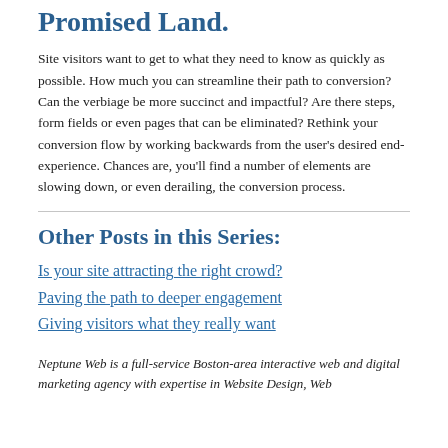Promised Land.
Site visitors want to get to what they need to know as quickly as possible. How much you can streamline their path to conversion? Can the verbiage be more succinct and impactful? Are there steps, form fields or even pages that can be eliminated? Rethink your conversion flow by working backwards from the user's desired end-experience. Chances are, you'll find a number of elements are slowing down, or even derailing, the conversion process.
Other Posts in this Series:
Is your site attracting the right crowd?
Paving the path to deeper engagement
Giving visitors what they really want
Neptune Web is a full-service Boston-area interactive web and digital marketing agency with expertise in Website Design, Web